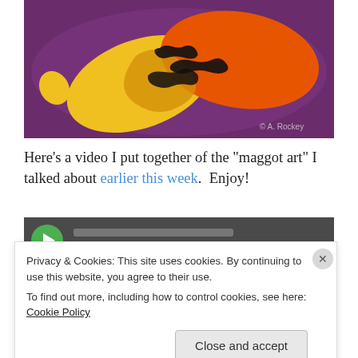[Figure (photo): Close-up photo of colorful paint (yellow, orange) swirled on a dark purple/maroon plate, with black maggots visible in the paint creating art patterns. Watermark '© A. Rockey' visible in lower right.]
Here's a video I put together of the "maggot art" I talked about earlier this week.  Enjoy!
[Figure (screenshot): Dark video player preview thumbnail showing a green circle play button.]
Privacy & Cookies: This site uses cookies. By continuing to use this website, you agree to their use.
To find out more, including how to control cookies, see here: Cookie Policy